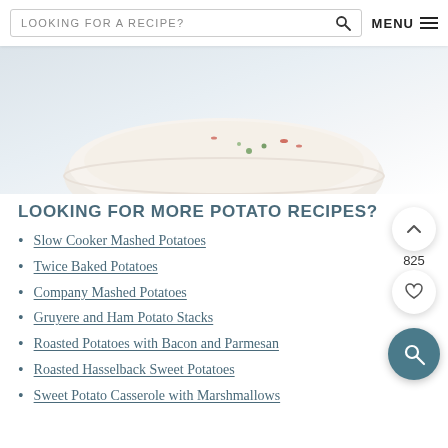LOOKING FOR A RECIPE? [search] MENU ≡
[Figure (photo): Top-down view of a white bowl with creamy mashed potatoes garnished with green herbs and red pepper flakes, on a white linen background.]
LOOKING FOR MORE POTATO RECIPES?
Slow Cooker Mashed Potatoes
Twice Baked Potatoes
Company Mashed Potatoes
Gruyere and Ham Potato Stacks
Roasted Potatoes with Bacon and Parmesan
Roasted Hasselback Sweet Potatoes
Sweet Potato Casserole with Marshmallows